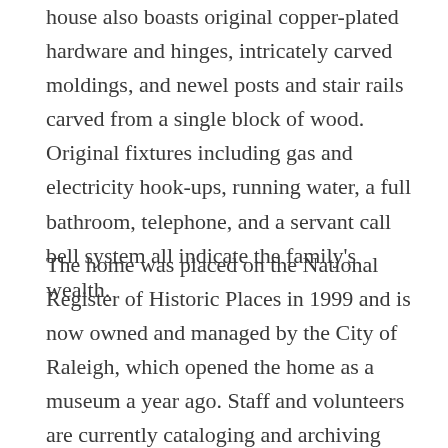house also boasts original copper-plated hardware and hinges, intricately carved moldings, and newel posts and stair rails carved from a single block of wood. Original fixtures including gas and electricity hook-ups, running water, a full bathroom, telephone, and a servant call bell system all indicate the family's wealth.
The home was placed on the National Register of Historic Places in 1999 and is now owned and managed by the City of Raleigh, which opened the home as a museum a year ago. Staff and volunteers are currently cataloging and archiving items in order to curate